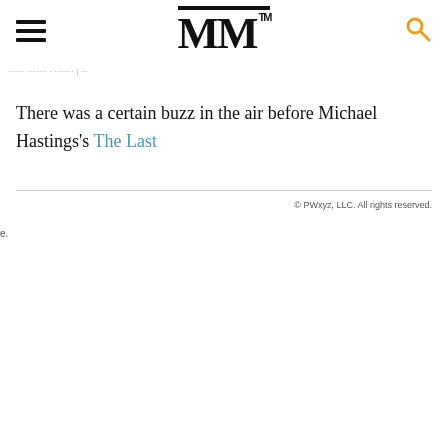MM™
There was a certain buzz in the air before Michael Hastings's The Last
© PWxyz, LLC. All rights reserved.